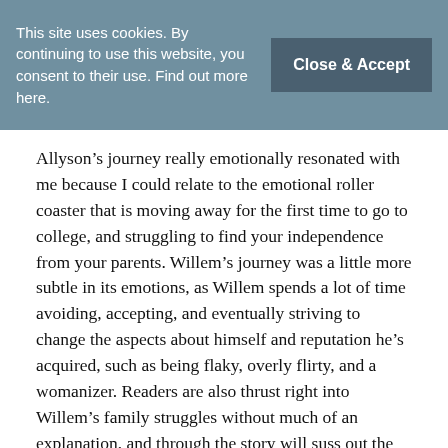This site uses cookies. By continuing to use this website, you consent to their use. Find out more here.
Close & Accept
Allyson's journey really emotionally resonated with me because I could relate to the emotional roller coaster that is moving away for the first time to go to college, and struggling to find your independence from your parents. Willem's journey was a little more subtle in its emotions, as Willem spends a lot of time avoiding, accepting, and eventually striving to change the aspects about himself and reputation he's acquired, such as being flaky, overly flirty, and a womanizer. Readers are also thrust right into Willem's family struggles without much of an explanation, and through the story will suss out the broken dynamics between Willem and Bram and Yael, his estranged parents who still haunt his thoughts and actions every day. The family aspect in this duology was fantastic, as multiple generations of family members play a role in both Willem and Allyson's lives. Yet reading about Willem's parents love story, and how he often feels like an unwanted footnote in it, was quietly powerful in a way that Allyson's obnoxiously overbearing parents were not. Also, this book is rife with parallelism; Willem and Allison's story draws almost eerie parallels to Bram and Yael's, and by the end